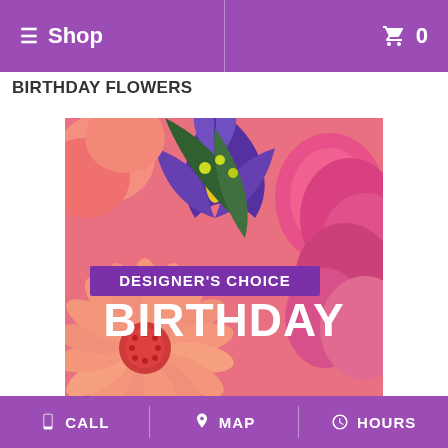≡ Shop   🛒 0
BIRTHDAY FLOWERS
[Figure (photo): A floral arrangement photograph showing pink gerbera daisies, purple iris flowers, green foliage, and hot pink carnations/peonies. Overlaid text reads 'DESIGNER'S CHOICE BIRTHDAY' with a purple banner.]
CALL   MAP   HOURS